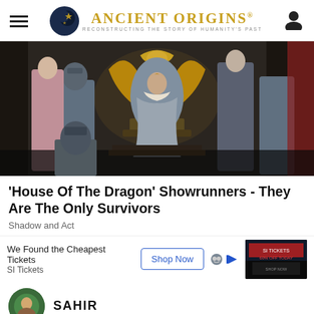Ancient Origins - Reconstructing the story of humanity's past
[Figure (photo): Scene from 'House of the Dragon' TV show: a person in ornate golden robes seated on a large decorative throne, flanked by armored guards and courtiers in medieval fantasy costumes.]
'House Of The Dragon' Showrunners - They Are The Only Survivors
Shadow and Act
We Found the Cheapest Tickets
SI Tickets
[Figure (screenshot): Advertisement: Shop Now button for SI Tickets with a concert/event ticket thumbnail image]
SAHIR